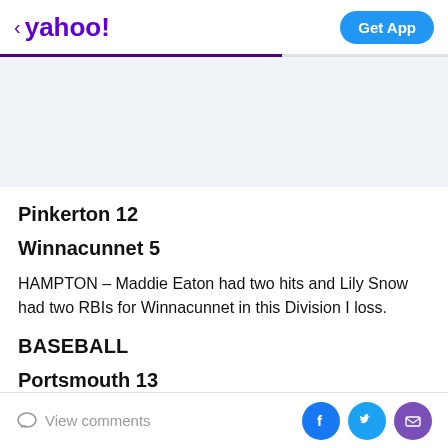< yahoo! | Get App
[Figure (other): Gray/blue advertisement placeholder area]
Pinkerton 12
Winnacunnet 5
HAMPTON – Maddie Eaton had two hits and Lily Snow had two RBIs for Winnacunnet in this Division I loss.
BASEBALL
Portsmouth 13
View comments | Facebook | Twitter | Email